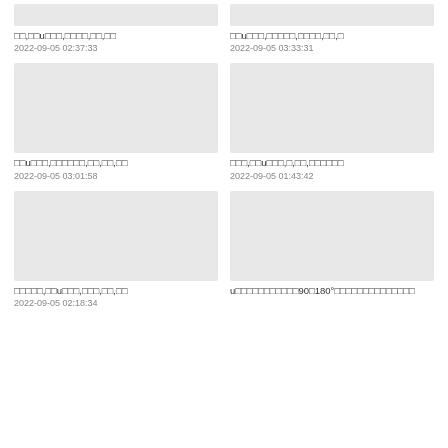[Figure (other): Gray thumbnail placeholder top left]
□□,□□u□□□,□□□□,□□,□□
2022-09-05 02:37:33
[Figure (other): Gray thumbnail placeholder top right]
□□u□□□,□□□□□,□□□□,□□,□
2022-09-05 03:33:31
[Figure (other): Gray thumbnail placeholder middle left]
□□u□□□,□□□□□□,□□,□□,□□
2022-09-05 03:01:58
[Figure (other): Gray thumbnail placeholder middle right]
□□□,□□u□□□,□,□□,□□□□□□
2022-09-05 01:43:42
[Figure (other): Gray thumbnail placeholder bottom left]
□□□□□,□□u□□□,□□□,□□,□□
2022-09-05 02:18:34
[Figure (other): Gray thumbnail placeholder bottom right]
u□□□□□□□□□□□90□180°□□□□□□□□□□□□□□